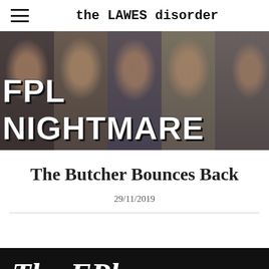the LAWES disorder
[Figure (photo): Hero banner image showing five football managers with distressed/emotional expressions, with large text overlay reading 'FPL Nightmare']
The Butcher Bounces Back
29/11/2019
[Figure (photo): Partial bottom image with dark/black background and white italic text reading 'The FPl']